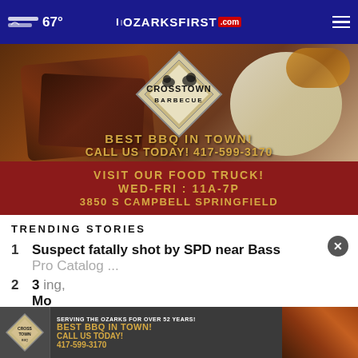67° | OZARKSFIRST.com
[Figure (photo): Crosstown Barbecue advertisement showing BBQ food photo with diamond-shaped logo. Text: BEST BBQ IN TOWN! CALL US TODAY! 417-599-3170. VISIT OUR FOOD TRUCK! WED-FRI : 11A-7P 3850 S CAMPBELL SPRINGFIELD]
TRENDING STORIES
1 Suspect fatally shot by SPD near Bass Pro Catalog ...
2 3... ing, Mo
[Figure (photo): Bottom banner ad for Crosstown Barbecue: SERVING THE OZARKS FOR OVER 52 YEARS! BEST BBQ IN TOWN! CALL US TODAY! 417-599-3170]